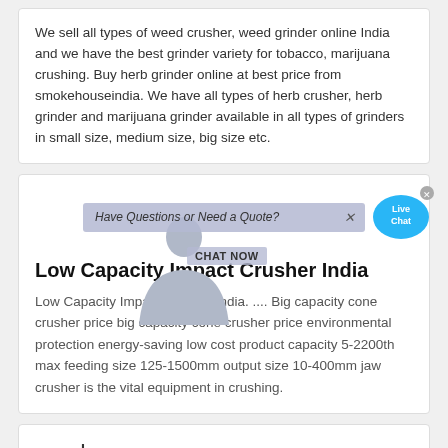We sell all types of weed crusher, weed grinder online India and we have the best grinder variety for tobacco, marijuana crushing. Buy herb grinder online at best price from smokehouseindia. We have all types of herb crusher, herb grinder and marijuana grinder available in all types of grinders in small size, medium size, big size etc.
[Figure (screenshot): Popup overlay with 'Have Questions or Need a Quote?' banner and Live Chat bubble with person image and CHAT NOW text]
Low Capacity Impact Crusher India
Low Capacity Impact Crusher India. .... Big capacity cone crusher price big capacity cone crusher price environmental protection energy-saving low cost product capacity 5-2200th max feeding size 125-1500mm output size 10-400mm jaw crusher is the vital equipment in crushing.
crush